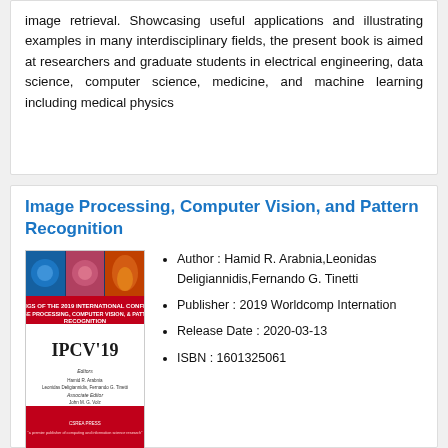image retrieval. Showcasing useful applications and illustrating examples in many interdisciplinary fields, the present book is aimed at researchers and graduate students in electrical engineering, data science, computer science, medicine, and machine learning including medical physics
Image Processing, Computer Vision, and Pattern Recognition
[Figure (illustration): Book cover of IPCV'19 proceedings with red and blue imagery showing IPCV'19 title and editors Hamid R. Arabnia, Leonidas Deligiannidis, Fernando G. Tinetti]
Author : Hamid R. Arabnia,Leonidas Deligiannidis,Fernando G. Tinetti
Publisher : 2019 Worldcomp Internation
Release Date : 2020-03-13
ISBN : 1601325061